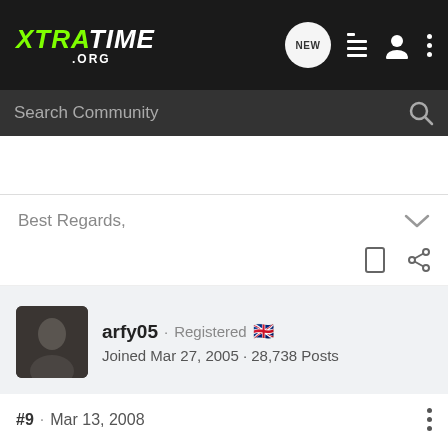[Figure (logo): XTRATIME .ORG logo in green and white on dark background nav bar with icons]
Search Community
Best Regards,
arfy05 · Registered 🇬🇧
Joined Mar 27, 2005 · 28,738 Posts
#9 · Mar 13, 2008